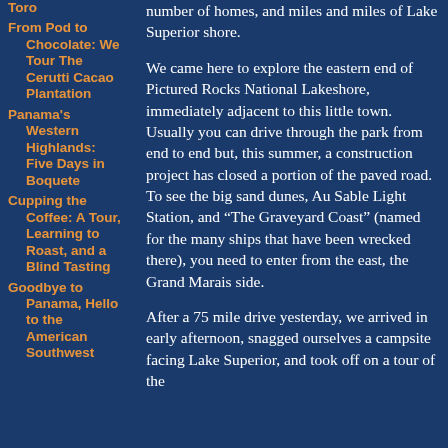Toro
From Pod to Chocolate: We Tour The Cerutti Cacao Plantation
Panama's Western Highlands: Five Days in Boquete
Cupping the Coffee: A Tour, Learning to Roast, and a Blind Tasting
Goodbye to Panama, Hello to the American Southwest
number of homes, and miles and miles of Lake Superior shore.
We came here to explore the eastern end of Pictured Rocks National Lakeshore, immediately adjacent to this little town.  Usually you can drive through the park from end to end but, this summer, a construction project has closed a portion of the paved road.  To see the big sand dunes, Au Sable Light Station, and “The Graveyard Coast” (named for the many ships that have been wrecked there), you need to enter from the east, the Grand Marais side.
After a 75 mile drive yesterday, we arrived in early afternoon, snagged ourselves a campsite facing Lake Superior, and took off on a tour of the